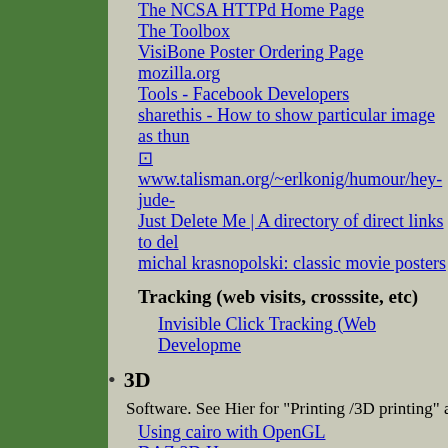The NCSA HTTPd Home Page
The Toolbox
VisiBone Poster Ordering Page
mozilla.org
Tools - Facebook Developers
sharethis - How to show particular image as thun
⊡ www.talisman.org/~erlkonig/humour/hey-jude-
Just Delete Me | A directory of direct links to del
michal krasnopolski: classic movie posters
Tracking (web visits, crosssite, etc)
Invisible Click Tracking (Web Developme
3D
Software. See Hier for "Printing /3D printing" and so o
Using cairo with OpenGL
DAZ 3D Home
Google Camera - Depth data viewer
Texture from Pixmap OpenGL EXT
Fujifilm to develop 3D digital photography syste
HowToBuild - o3d - How to get the source and b
OpenGL Game Programming Books